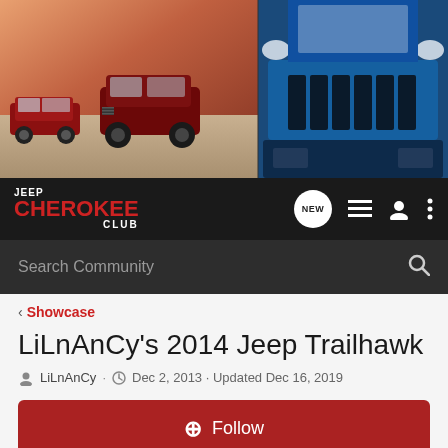[Figure (photo): Hero banner showing Jeep Cherokee vehicles — two red Jeep Cherokees on the left side on a beach/desert background, and a blue Jeep Cherokee front-facing close-up on the right side.]
JEEP CHEROKEE CLUB — navigation bar with NEW bubble, list icon, user icon, and more icon
Search Community
< Showcase
LiLnAnCy's 2014 Jeep Trailhawk
LiLnAnCy · Dec 2, 2013 · Updated Dec 16, 2019
+ Follow
General Information